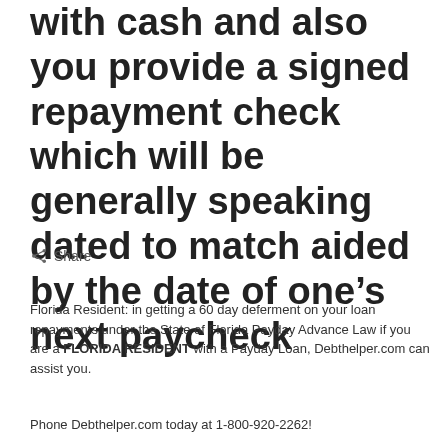with cash and also you provide a signed repayment check which will be generally speaking dated to match aided by the date of one’s next paycheck
< Share
Florida Resident: in getting a 60 day deferment on your loan repayments under the State of Florida Payday Advance Law if you are a FLORIDA RESIDENT with a Payday Loan, Debthelper.com can assist you.
Phone Debthelper.com today at 1-800-920-2262!